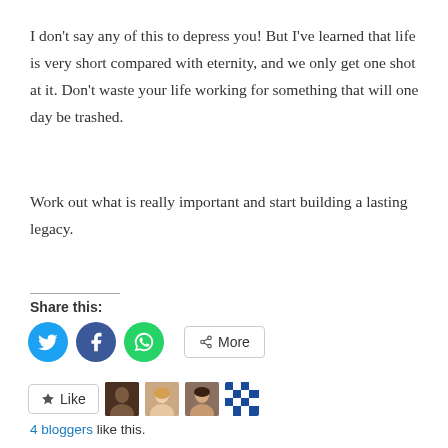I don’t say any of this to depress you! But I’ve learned that life is very short compared with eternity, and we only get one shot at it. Don’t waste your life working for something that will one day be trashed.
Work out what is really important and start building a lasting legacy.
Share this:
[Figure (infographic): Social share buttons: Twitter (blue circle), Facebook (dark blue circle), WhatsApp (green circle), and a More button with share icon]
[Figure (infographic): Like button with star icon, followed by four blogger avatar thumbnails]
4 bloggers like this.